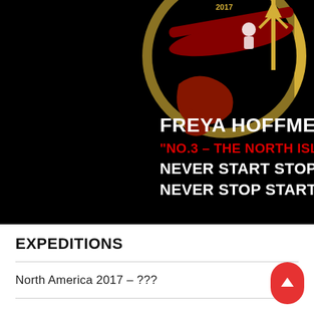[Figure (illustration): Book or promotional cover image on black background showing a kayak/shield emblem with gold arrow, red map shape, and text: FREYA HOFFMEISTER, 'NO.3 – THE NORTH ISLAND', NEVER START STOPPING NEVER STOP STARTING]
EXPEDITIONS
North America 2017 – ???  +